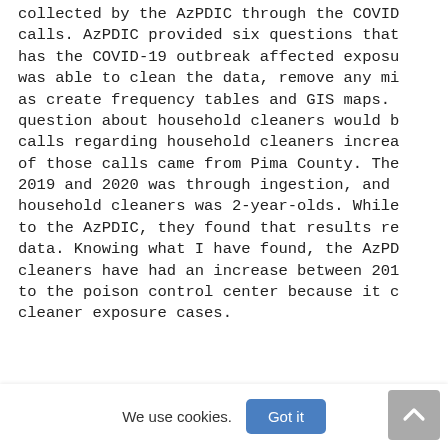collected by the AzPDIC through the COVID calls. AzPDIC provided six questions that has the COVID-19 outbreak affected exposu was able to clean the data, remove any mi as create frequency tables and GIS maps. question about household cleaners would b calls regarding household cleaners increa of those calls came from Pima County. The 2019 and 2020 was through ingestion, and household cleaners was 2-year-olds. While to the AzPDIC, they found that results re data. Knowing what I have found, the AzPD cleaners have had an increase between 201 to the poison control center because it c cleaner exposure cases.
We use cookies. Got it